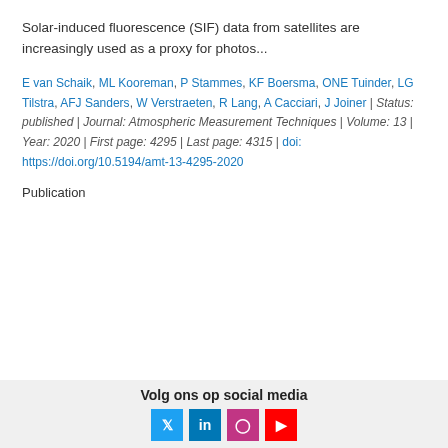Solar-induced fluorescence (SIF) data from satellites are increasingly used as a proxy for photos...
E van Schaik, ML Kooreman, P Stammes, KF Boersma, ONE Tuinder, LG Tilstra, AFJ Sanders, W Verstraeten, R Lang, A Cacciari, J Joiner | Status: published | Journal: Atmospheric Measurement Techniques | Volume: 13 | Year: 2020 | First page: 4295 | Last page: 4315 | doi: https://doi.org/10.5194/amt-13-4295-2020
Publication
Volg ons op social media